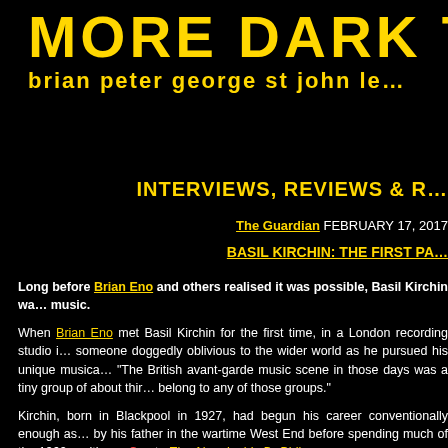MORE DARK T…
brian peter george st john le…
INTERVIEWS, REVIEWS & R…
The Guardian FEBRUARY 17, 2017
BASIL KIRCHIN: THE FIRST PA…
Long before Brian Eno and others realised it was possible, Basil Kirchin wa… music.
When Brian Eno met Basil Kirchin for the first time, in a London recording studio i… someone doggedly oblivious to the wider world as he pursued his unique musica… "The British avant-garde music scene in those days was a tiny group of about thir… belong to any of those groups."
Kirchin, born in Blackpool in 1927, had begun his career conventionally enough as… by his father in the wartime West End before spending much of the 1960s writing… Can to The Abominable Dr Phibes.
In 1967 the Arts Council granted him the money to buy a Nagra tape recorder of th…